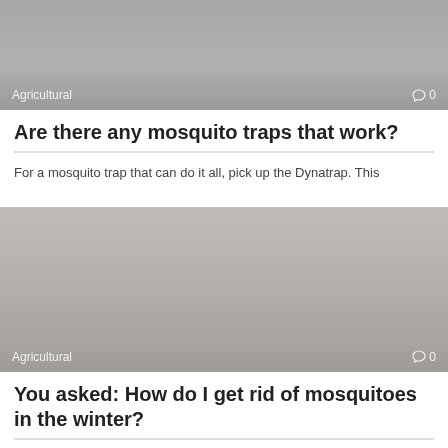[Figure (photo): Gray placeholder image with Agricultural tag and comment count 0]
Agricultural  ◯ 0
Are there any mosquito traps that work?
For a mosquito trap that can do it all, pick up the Dynatrap. This
[Figure (photo): Gray/tan placeholder image with Agricultural tag and comment count 0]
Agricultural  ◯ 0
You asked: How do I get rid of mosquitoes in the winter?
If you notice any standing water on your property, even